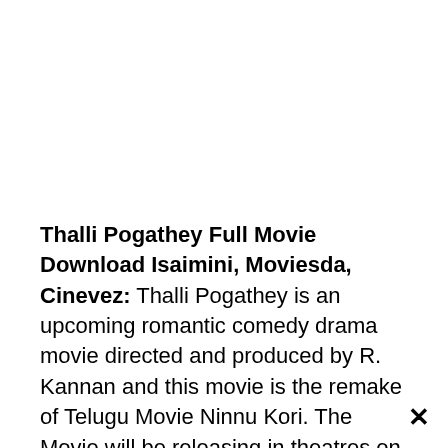Thalli Pogathey Full Movie Download Isaimini, Moviesda, Cinevez: Thalli Pogathey is an upcoming romantic comedy drama movie directed and produced by R. Kannan and this movie is the remake of Telugu Movie Ninnu Kori. The Movie will be releasing in theatres on December 3rd, 2021. But before the movie could release in theatres, The Movie has been leaked on some piracy websites like Tamil Yogi,